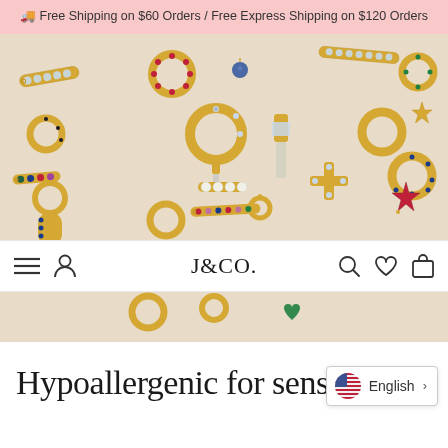🚚 Free Shipping on $60 Orders / Free Express Shipping on $120 Orders
[Figure (photo): Flat lay of gold jewelry charms and huggie hoops with colorful gemstones on a beige background, split by a white navigation bar in the middle]
J&CO.
Hypoallergenic for sensit
English >